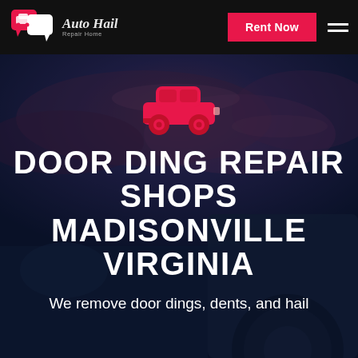[Figure (logo): Auto Hail Repair Home logo with speech bubble and car icon, white and pink on black background]
Rent Now
[Figure (photo): Dark dramatic background showing a car at night with stormy cloudy sky, blue-toned]
[Figure (illustration): Red car icon/silhouette centered on hero section]
DOOR DING REPAIR SHOPS MADISONVILLE VIRGINIA
We remove door dings, dents, and hail